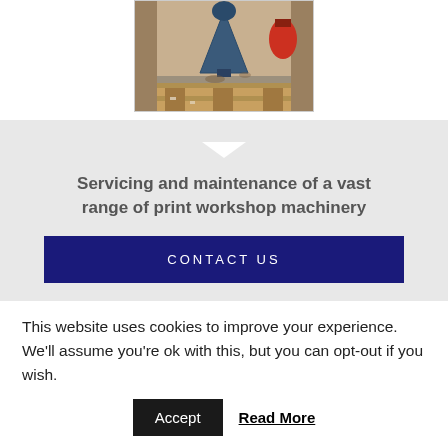[Figure (photo): A blue industrial machine/component on a wooden pallet inside a wooden crate, with a red object visible in the background]
Servicing and maintenance of a vast range of print workshop machinery
CONTACT US
This website uses cookies to improve your experience. We'll assume you're ok with this, but you can opt-out if you wish.
Accept
Read More